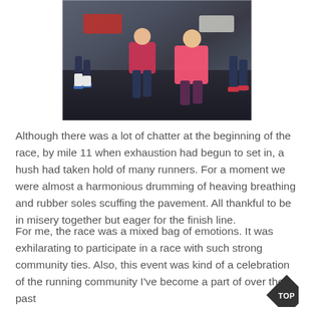[Figure (photo): Children and adults running in a race, wearing pink shirts, on a paved surface with cars visible in the background]
Although there was a lot of chatter at the beginning of the race, by mile 11 when exhaustion had begun to set in, a hush had taken hold of many runners. For a moment we were almost a harmonious drumming of heaving breathing and rubber soles scuffing the pavement. All thankful to be in misery together but eager for the finish line.
For me, the race was a mixed bag of emotions. It was exhilarating to participate in a race with such strong community ties. Also, this event was kind of a celebration of the running community I've become a part of over the past